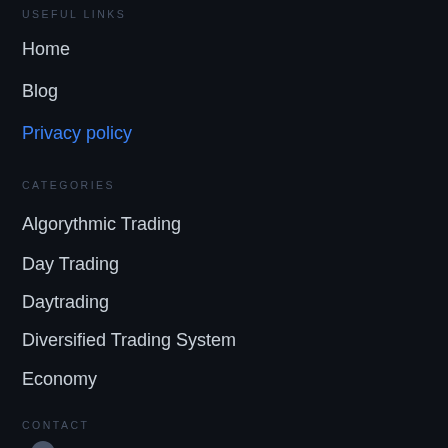USEFUL LINKS
Home
Blog
Privacy policy
CATEGORIES
Algorythmic Trading
Day Trading
Daytrading
Diversified Trading System
Economy
CONTACT
[Figure (other): Location pin icon]
[Figure (other): Phone icon]